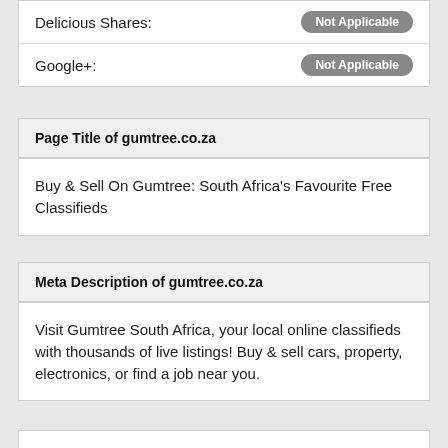| Delicious Shares: | Not Applicable |
| Google+: | Not Applicable |
Page Title of gumtree.co.za
Buy & Sell On Gumtree: South Africa's Favourite Free Classifieds
Meta Description of gumtree.co.za
Visit Gumtree South Africa, your local online classifieds with thousands of live listings! Buy & sell cars, property, electronics, or find a job near you.